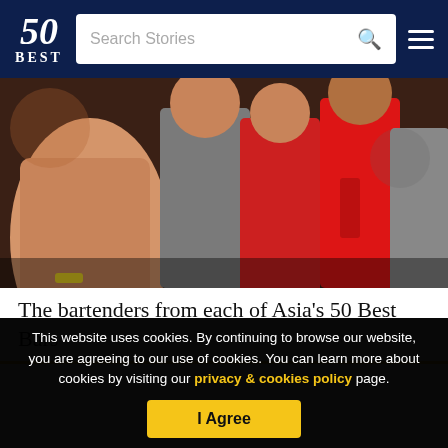50 BEST | Search Stories
[Figure (photo): Crowd of people at an event, some wearing red jackets, photographed from behind/side]
The bartenders from each of Asia's 50 Best Bars
This website uses cookies. By continuing to browse our website, you are agreeing to our use of cookies. You can learn more about cookies by visiting our privacy & cookies policy page.
I Agree